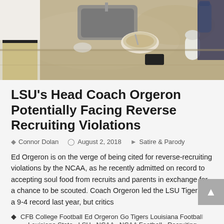[Figure (photo): Overhead view of people sitting at a granite kitchen counter with bowls, food, a phone, and water bottles visible.]
LSU's Head Coach Orgeron Potentially Facing Reverse Recruiting Violations
Connor Dolan   August 2, 2018   Satire & Parody
Ed Orgeron is on the verge of being cited for reverse-recruiting violations by the NCAA, as he recently admitted on record to accepting soul food from recruits and parents in exchange for a chance to be scouted. Coach Orgeron led the LSU Tigers to a 9-4 record last year, but critics
CFB  College Football  Ed Orgeron  Go Tigers  Louisiana Football  Louisiana State  LSU  NCAA  NCAA Football  Recruiting Violation